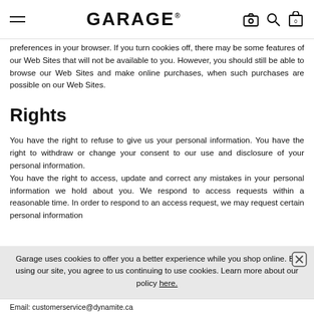GARAGE®
preferences in your browser. If you turn cookies off, there may be some features of our Web Sites that will not be available to you. However, you should still be able to browse our Web Sites and make online purchases, when such purchases are possible on our Web Sites.
Rights
You have the right to refuse to give us your personal information. You have the right to withdraw or change your consent to our use and disclosure of your personal information.
You have the right to access, update and correct any mistakes in your personal information we hold about you. We respond to access requests within a reasonable time. In order to respond to an access request, we may request certain personal information
Garage uses cookies to offer you a better experience while you shop online. By using our site, you agree to us continuing to use cookies. Learn more about our policy here.
Email: customerservice@dynamite.ca